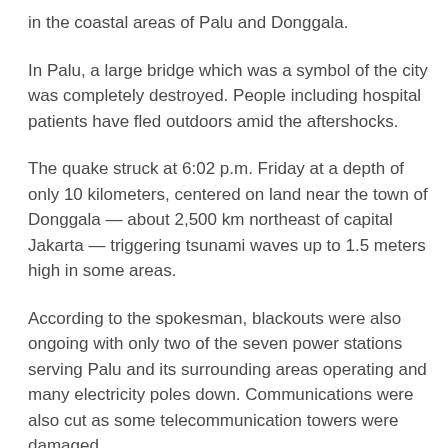in the coastal areas of Palu and Donggala.
In Palu, a large bridge which was a symbol of the city was completely destroyed. People including hospital patients have fled outdoors amid the aftershocks.
The quake struck at 6:02 p.m. Friday at a depth of only 10 kilometers, centered on land near the town of Donggala — about 2,500 km northeast of capital Jakarta — triggering tsunami waves up to 1.5 meters high in some areas.
According to the spokesman, blackouts were also ongoing with only two of the seven power stations serving Palu and its surrounding areas operating and many electricity poles down. Communications were also cut as some telecommunication towers were damaged.
“We badly need a temporary hospital and medical support, such as beds, medicines, medical teams, blankets, etc.,” Komang Adi Sujendra, director at the Central Sulawesi Regional Hospital, said